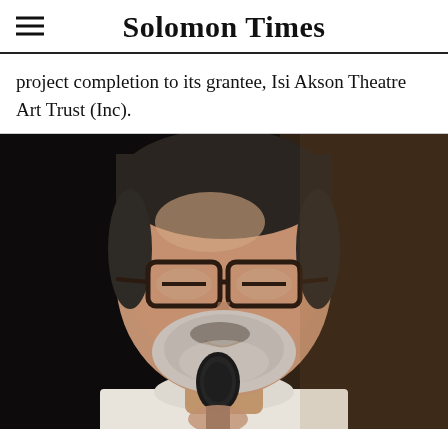Solomon Times
project completion to its grantee, Isi Akson Theatre Art Trust (Inc).
[Figure (photo): A middle-aged man with glasses and a grey beard, wearing a white shirt, speaking into a black microphone against a dark background.]